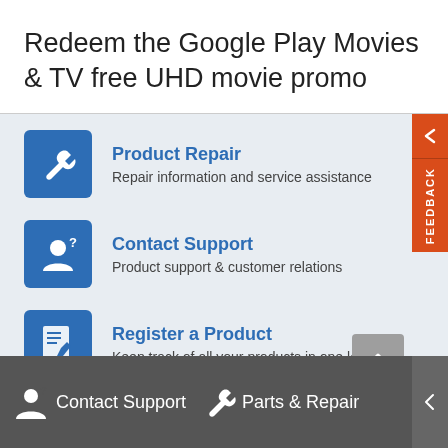Redeem the Google Play Movies & TV free UHD movie promo
Product Repair — Repair information and service assistance
Contact Support — Product support & customer relations
Register a Product — Keep track of all your products in one location
Contact Support   Parts & Repair